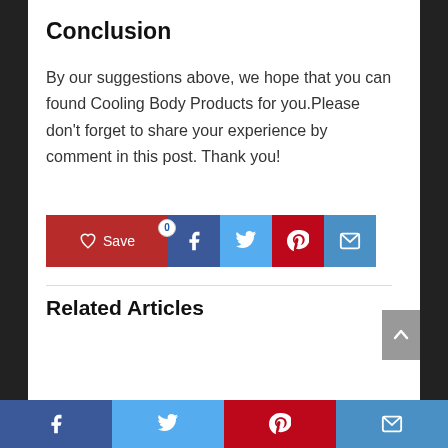Conclusion
By our suggestions above, we hope that you can found Cooling Body Products for you.Please don't forget to share your experience by comment in this post. Thank you!
[Figure (infographic): Social share buttons row: Save (red with heart icon and badge '0'), Facebook (dark blue), Twitter (light blue), Pinterest (red), Email (blue)]
Related Articles
[Figure (photo): Partially visible product image at bottom of page, appears to be a circular/arc shaped item]
[Figure (infographic): Bottom social share bar: Facebook (dark blue), Twitter (light blue), Pinterest (red), Email (blue)]